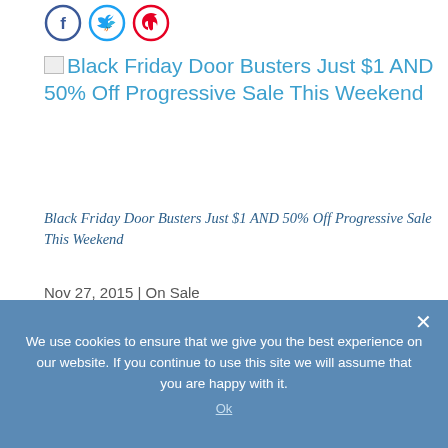[Figure (other): Social share icons row at top: Facebook (blue circle outline), Twitter (blue circle outline), Pinterest (red circle outline)]
Black Friday Door Busters Just $1 AND 50% Off Progressive Sale This Weekend
Black Friday Door Busters Just $1 AND 50% Off Progressive Sale This Weekend
Nov 27, 2015 | On Sale
[Figure (other): Social share icons row: Facebook (dark blue filled circle), Twitter (light blue filled circle), Pinterest (red filled circle)]
Yesterday was Thanksgiving in the U.S.  I hope
We use cookies to ensure that we give you the best experience on our website. If you continue to use this site we will assume that you are happy with it.